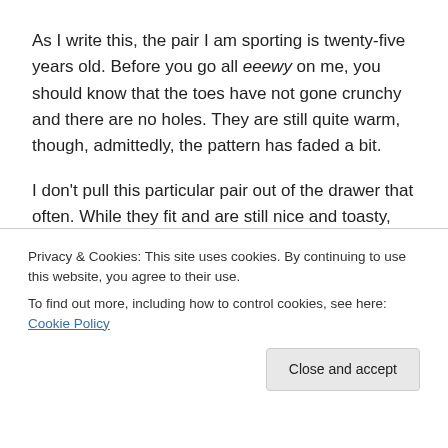As I write this, the pair I am sporting is twenty-five years old. Before you go all eeewy on me, you should know that the toes have not gone crunchy and there are no holes. They are still quite warm, though, admittedly, the pattern has faded a bit.
I don't pull this particular pair out of the drawer that often. While they fit and are still nice and toasty, the bacon and eggs symbols on them are a bit '80s, after all. However, when I do I am reminded that, sometimes, thankfulness takes a bit of time...
forgotten do, though, sending many packages for us to
Privacy & Cookies: This site uses cookies. By continuing to use this website, you agree to their use. To find out more, including how to control cookies, see here: Cookie Policy